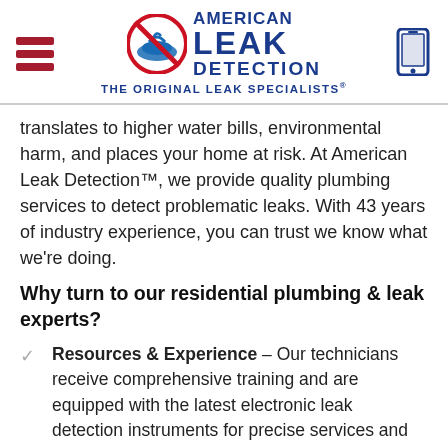[Figure (logo): American Leak Detection logo with hamburger menu and phone icon in header]
translates to higher water bills, environmental harm, and places your home at risk. At American Leak Detection™, we provide quality plumbing services to detect problematic leaks. With 43 years of industry experience, you can trust we know what we're doing.
Why turn to our residential plumbing & leak experts?
Resources & Experience – Our technicians receive comprehensive training and are equipped with the latest electronic leak detection instruments for precise services and repairs.